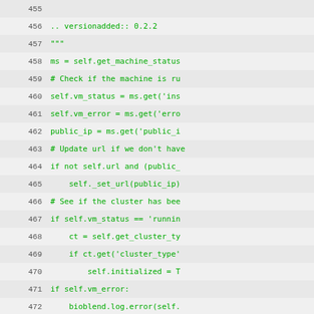[Figure (screenshot): Source code listing showing Python code lines 455-486 with green monospace text on alternating light gray background, displaying methods related to machine status checking and cloudman version retrieval.]